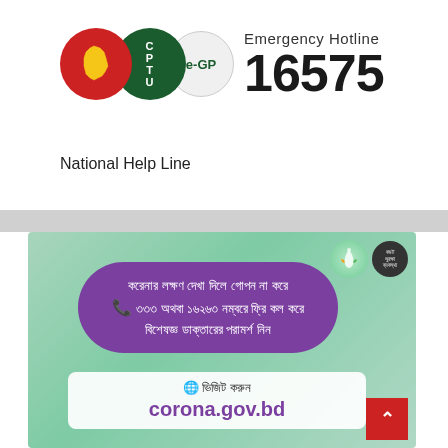[Figure (logo): CPTU e-GP Emergency Hotline logo with red circle containing Bangladesh map, green CPTU circle, light e-GP circle, and text 'Emergency Hotline 16575']
National Help Line
[Figure (infographic): Bangladeshi government COVID-19 infographic on green background. Purple rounded box with Bangla text about corona symptoms and helpline 333 or 16263. White box with globe icon and text 'ভিজিট করুন corona.gov.bd']